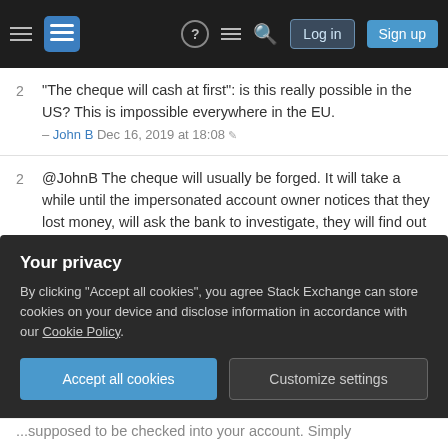Stack Exchange navigation bar with hamburger menu, logo, help, chat, search, Log in, Sign up
2 "The cheque will cash at first": is this really possible in the US? This is impossible everywhere in the EU. – John B Dec 16, 2019 at 18:08
2 @JohnB The cheque will usually be forged. It will take a while until the impersonated account owner notices that they lost money, will ask the bank to investigate, they will find out that the signature on the cheque doesn't match the one of the account holder they have on file and will reverse the transfer. – Philipp Dec 16, 2019 at 18:10
3 Common scam in the US. Here's a link to the FTC's blog describing the various kinds of fake check scams.
Your privacy – By clicking "Accept all cookies", you agree Stack Exchange can store cookies on your device and disclose information in accordance with our Cookie Policy.
...supposed to be checked into your account. Simply